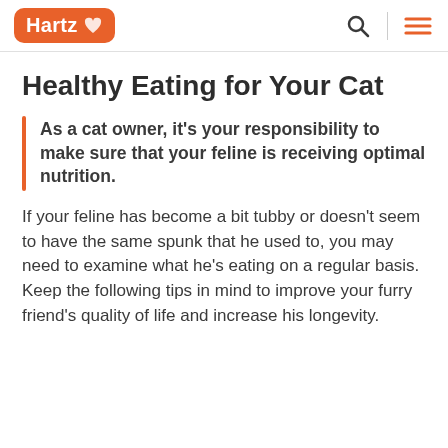Hartz
Healthy Eating for Your Cat
As a cat owner, it's your responsibility to make sure that your feline is receiving optimal nutrition.
If your feline has become a bit tubby or doesn't seem to have the same spunk that he used to, you may need to examine what he's eating on a regular basis. Keep the following tips in mind to improve your furry friend's quality of life and increase his longevity.